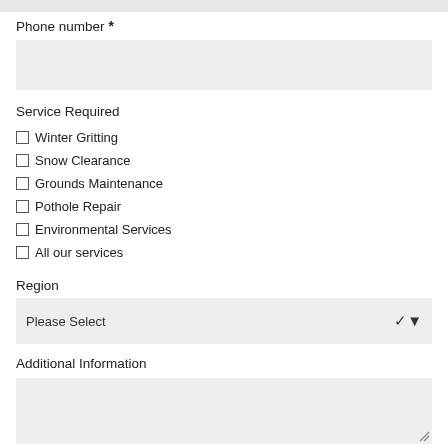Phone number *
Service Required
Winter Gritting
Snow Clearance
Grounds Maintenance
Pothole Repair
Environmental Services
All our services
Region
Please Select
Additional Information